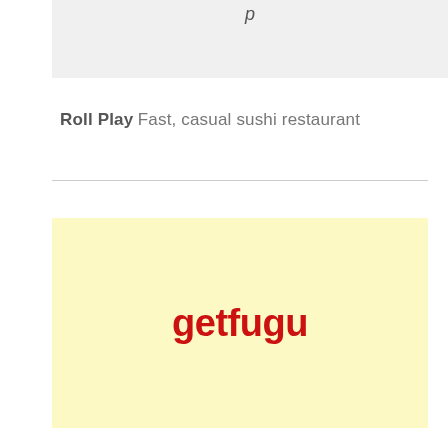[Figure (other): Top gray banner area, partially cropped, showing partial italic text at top]
Roll Play  Fast, casual sushi restaurant
[Figure (logo): getfugu logo in red bold text on a pale yellow background]